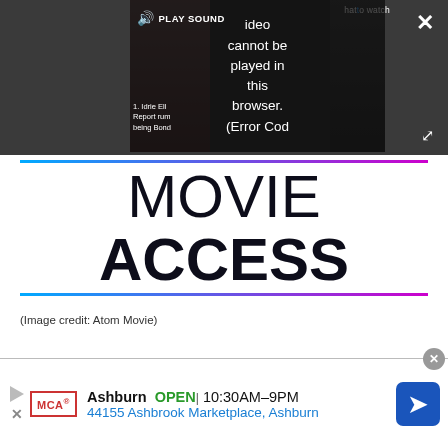[Figure (screenshot): Video player showing error message: 'Video cannot be played in this browser. (Error Cod' with PLAY SOUND button, close button, and expand button on dark background.]
[Figure (logo): MOVIE ACCESS logo with blue-to-pink gradient lines above and below, bold black text.]
(Image credit: Atom Movie)
[Figure (screenshot): Advertisement banner: MCA logo, Ashburn OPEN 10:30AM-9PM, 44155 Ashbrook Marketplace, Ashburn, with navigation arrow icon.]